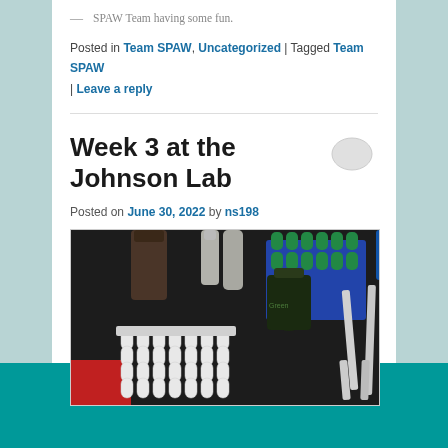— SPAW Team having some fun.
Posted in Team SPAW, Uncategorized | Tagged Team SPAW | Leave a reply
Week 3 at the Johnson Lab
Posted on June 30, 2022 by ns198
[Figure (photo): Lab bench photo showing rows of small white capped tubes in a rack, green-capped test tubes in blue rack, a dark glass reagent bottle, and two pipettes on a dark surface. A red sleeve is visible at the bottom left.]